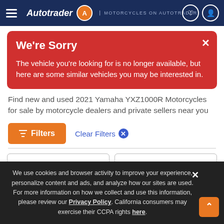Autotrader | MOTORCYCLES ON AUTOTRADER
We're Sorry
The vehicle you're looking for is no longer available, but here are some similar vehicles you may be interested in.
Find new and used 2021 Yamaha YXZ1000R Motorcycles for sale by motorcycle dealers and private sellers near you
Filters   Clear Filters
Sort Results By   Show 25
We use cookies and browser activity to improve your experience, personalize content and ads, and analyze how our sites are used. For more information on how we collect and use this information, please review our Privacy Policy. California consumers may exercise their CCPA rights here.